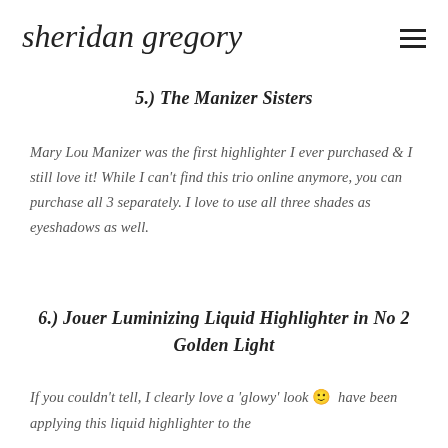sheridan gregory
5.) The Manizer Sisters
Mary Lou Manizer was the first highlighter I ever purchased & I still love it! While I can't find this trio online anymore, you can purchase all 3 separately. I love to use all three shades as eyeshadows as well.
6.) Jouer Luminizing Liquid Highlighter in No 2 Golden Light
If you couldn't tell, I clearly love a 'glowy' look 🙂 have been applying this liquid highlighter to the